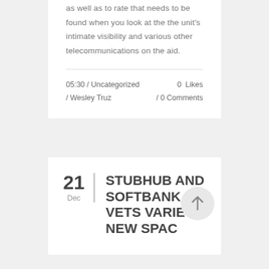as well as to rate that needs to be found when you look at the the unit's intimate visibility and various other telecommunications on the aid.
05:30 / Uncategorized / Wesley Truz
0 Likes / 0 Comments
STUBHUB AND SOFTBANK VETS VARIETY NEW SPAC
21 Dec